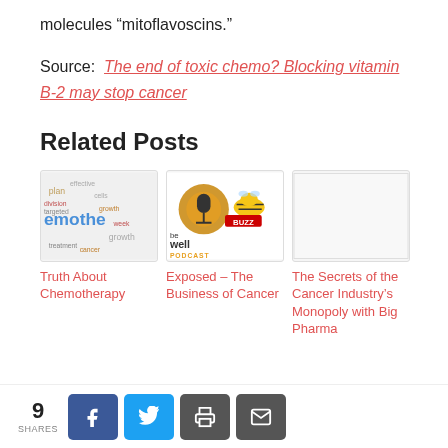molecules “mitoflavoscins.”
Source: The end of toxic chemo? Blocking vitamin B-2 may stop cancer
Related Posts
[Figure (photo): Word cloud image related to chemotherapy]
Truth About Chemotherapy
[Figure (photo): Be Well Podcast logo with bee mascot and BUZZ text]
Exposed – The Business of Cancer
[Figure (photo): Blank/white placeholder image]
The Secrets of the Cancer Industry’s Monopoly with Big Pharma
9 SHARES